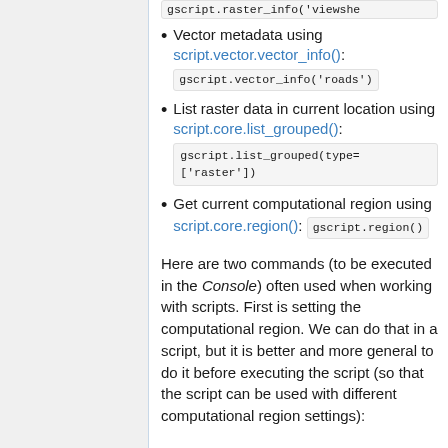Vector metadata using script.vector.vector_info(): gscript.vector_info('roads')
List raster data in current location using script.core.list_grouped(): gscript.list_grouped(type=['raster'])
Get current computational region using script.core.region(): gscript.region()
Here are two commands (to be executed in the Console) often used when working with scripts. First is setting the computational region. We can do that in a script, but it is better and more general to do it before executing the script (so that the script can be used with different computational region settings):